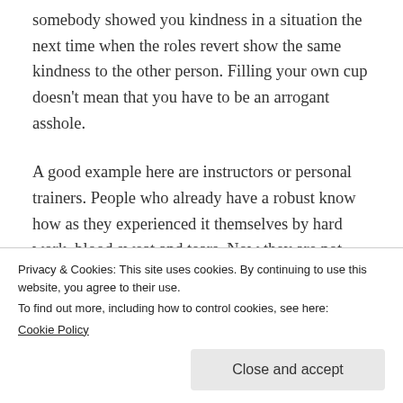somebody showed you kindness in a situation the next time when the roles revert show the same kindness to the other person. Filling your own cup doesn't mean that you have to be an arrogant asshole.
A good example here are instructors or personal trainers. People who already have a robust know how as they experienced it themselves by hard work, blood sweat and tears. Now they are not only training others they are also learning new things as well. The ski instructor I had
own oxygen mask on first before you help
Privacy & Cookies: This site uses cookies. By continuing to use this website, you agree to their use.
To find out more, including how to control cookies, see here: Cookie Policy